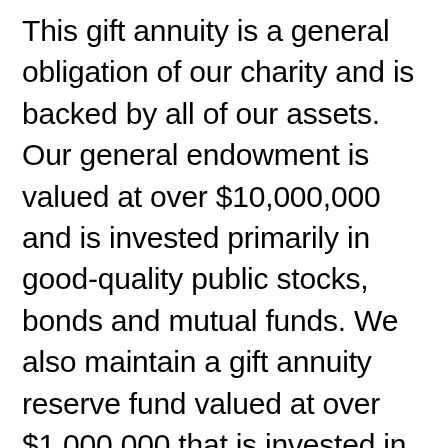This gift annuity is a general obligation of our charity and is backed by all of our assets. Our general endowment is valued at over $10,000,000 and is invested primarily in good-quality public stocks, bonds and mutual funds. We also maintain a gift annuity reserve fund valued at over $1,000,000 that is invested in accordance with our state law. The gift annuity investment funds are exempt from federal securities laws under the Philanthropy Protection Act of 1995. This explanation of a charitable gift annuity is consistent with the disclosure required by that law. Our actions are designed to secure for annuitant Mary Jones the